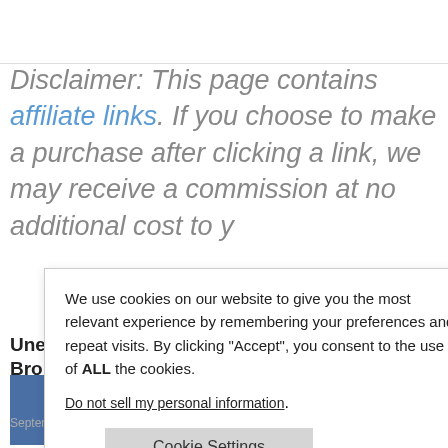Disclaimer: This page contains affiliate links. If you choose to make a purchase after clicking a link, we may receive a commission at no additional cost to you.
We use cookies on our website to give you the most relevant experience by remembering your preferences and repeat visits. By clicking “Accept”, you consent to the use of ALL the cookies.
Do not sell my personal information.
Cookie Settings
Accept
Reject All
January 28, 2010   Macro Man
Unemployment Trust Fund Nearly Broke
September 5, 2009   Nathan A. Martin